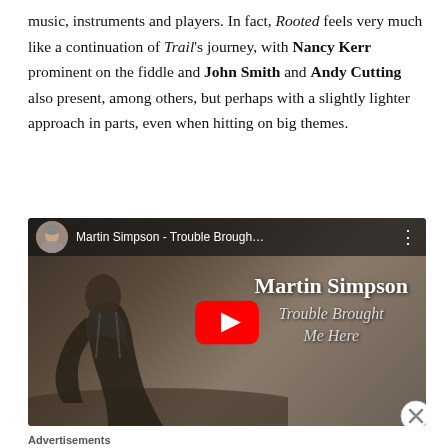music, instruments and players. In fact, Rooted feels very much like a continuation of Trail's journey, with Nancy Kerr prominent on the fiddle and John Smith and Andy Cutting also present, among others, but perhaps with a slightly lighter approach in parts, even when hitting on big themes.
[Figure (screenshot): YouTube video embed showing Martin Simpson - Trouble Brought Me Here. Thumbnail shows a man in profile with text overlay 'Martin Simpson' and 'Trouble Brought Me Here' with a YouTube play button.]
Advertisements